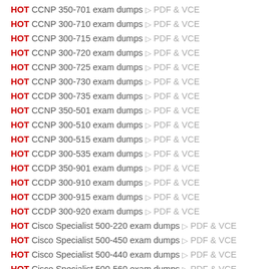HOT CCNP 350-701 exam dumps ▷ PDF & VCE
HOT CCNP 300-710 exam dumps ▷ PDF & VCE
HOT CCNP 300-715 exam dumps ▷ PDF & VCE
HOT CCNP 300-720 exam dumps ▷ PDF & VCE
HOT CCNP 300-725 exam dumps ▷ PDF & VCE
HOT CCNP 300-730 exam dumps ▷ PDF & VCE
HOT CCDP 300-735 exam dumps ▷ PDF & VCE
HOT CCNP 350-501 exam dumps ▷ PDF & VCE
HOT CCNP 300-510 exam dumps ▷ PDF & VCE
HOT CCNP 300-515 exam dumps ▷ PDF & VCE
HOT CCDP 300-535 exam dumps ▷ PDF & VCE
HOT CCDP 350-901 exam dumps ▷ PDF & VCE
HOT CCDP 300-910 exam dumps ▷ PDF & VCE
HOT CCDP 300-915 exam dumps ▷ PDF & VCE
HOT CCDP 300-920 exam dumps ▷ PDF & VCE
HOT Cisco Specialist 500-220 exam dumps ▷ PDF & VCE
HOT Cisco Specialist 500-450 exam dumps ▷ PDF & VCE
HOT Cisco Specialist 500-440 exam dumps ▷ PDF & VCE
HOT Cisco Specialist 500-560 exam dumps ▷ PDF & VCE
HOT CyberOps Associate 200-201 exam dumps ▷ PDF & VCE